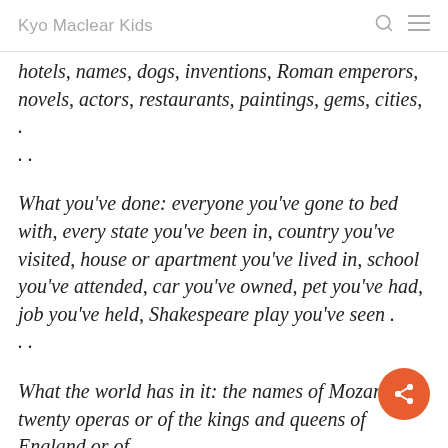Kyo Maclear Kids
hotels, names, dogs, inventions, Roman emperors, novels, actors, restaurants, paintings, gems, cities, . . .
What you've done: everyone you've gone to bed with, every state you've been in, country you've visited, house or apartment you've lived in, school you've attended, car you've owned, pet you've had, job you've held, Shakespeare play you've seen . . .
What the world has in it: the names of Mozart's twenty operas or of the kings and queens of England or of